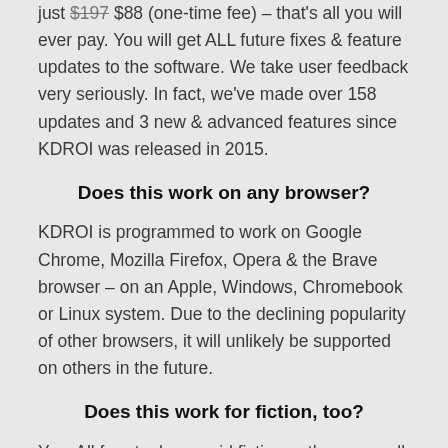just $197 $88 (one-time fee) – that's all you will ever pay. You will get ALL future fixes & feature updates to the software. We take user feedback very seriously. In fact, we've made over 158 updates and 3 new & advanced features since KDROI was released in 2015.
Does this work on any browser?
KDROI is programmed to work on Google Chrome, Mozilla Firefox, Opera & the Brave browser – on an Apple, Windows, Chromebook or Linux system. Due to the declining popularity of other browsers, it will unlikely be supported on others in the future.
Does this work for fiction, too?
Yes. All four tools can aid fiction authors as well as non-